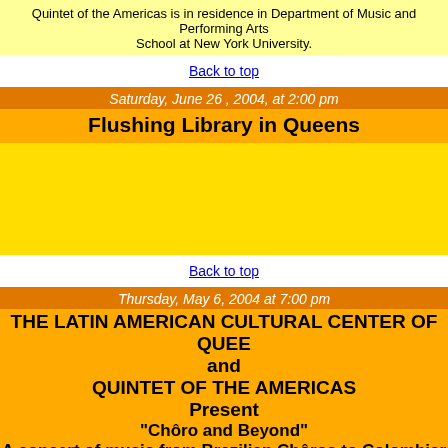Quintet of the Americas is in residence in Department of Music and Performing Arts School at New York University.
Back to top
Saturday, June 26 , 2004, at 2:00 pm
Flushing Library in Queens
Back to top
Thursday, May 6, 2004 at 7:00 pm
THE LATIN AMERICAN CULTURAL CENTER OF QUEENS and QUINTET OF THE AMERICAS Present "Chôro and Beyond" A concert of music from Brazilian Chôros to Colombian
THE SALVATION ARMY
86-07 35th Avenue, Jackson Heights - Admission Free